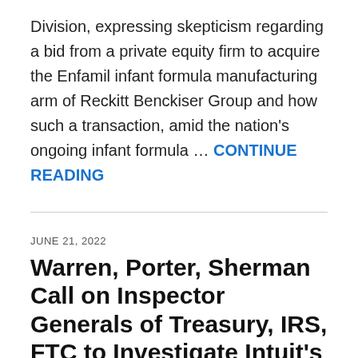Division, expressing skepticism regarding a bid from a private equity firm to acquire the Enfamil infant formula manufacturing arm of Reckitt Benckiser Group and how such a transaction, amid the nation's ongoing infant formula … CONTINUE READING
JUNE 21, 2022
Warren, Porter, Sherman Call on Inspector Generals of Treasury, IRS, FTC to Investigate Intuit's Use of the Revolving Door to Protect Taxpayer Scams